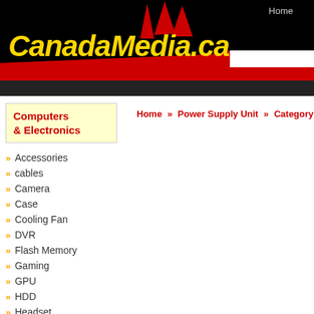Home
[Figure (logo): CanadaMedia.ca logo with yellow italic bold text on black background, with red decorative triangular rays above]
Computers & Electronics
Home » Power Supply Unit » Category
» Accessories
» cables
» Camera
» Case
» Cooling Fan
» DVR
» Flash Memory
» Gaming
» GPU
» HDD
» Headset
» Home